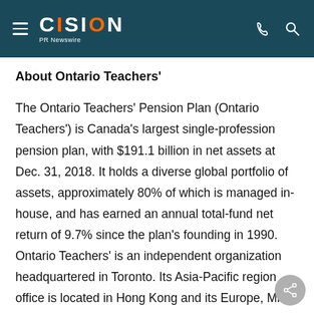CISION PR Newswire
About Ontario Teachers'
The Ontario Teachers' Pension Plan (Ontario Teachers') is Canada's largest single-profession pension plan, with $191.1 billion in net assets at Dec. 31, 2018. It holds a diverse global portfolio of assets, approximately 80% of which is managed in-house, and has earned an annual total-fund net return of 9.7% since the plan's founding in 1990. Ontario Teachers' is an independent organization headquartered in Toronto. Its Asia-Pacific region office is located in Hong Kong and its Europe, Middle East & Africa region office is in London. The defined